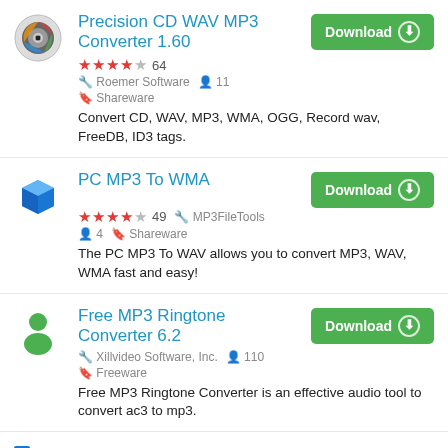[Figure (screenshot): Software listing page showing three software items: Precision CD WAV MP3 Converter 1.60, PC MP3 To WMA, Free MP3 Ringtone Converter 6.2, and a partial fourth item, each with icon, title, rating, metadata, download button, and description.]
Precision CD WAV MP3 Converter 1.60
★★★★☆ 64 | Roemer Software | 11 | Shareware
Convert CD, WAV, MP3, WMA, OGG, Record wav, FreeDB, ID3 tags.
PC MP3 To WMA
★★★★☆ 49 | MP3FileTools | 4 | Shareware
The PC MP3 To WAV allows you to convert MP3, WAV, WMA fast and easy!
Free MP3 Ringtone Converter 6.2
Xillvideo Software, Inc. | 110 | Freeware
Free MP3 Ringtone Converter is an effective audio tool to convert ac3 to mp3.